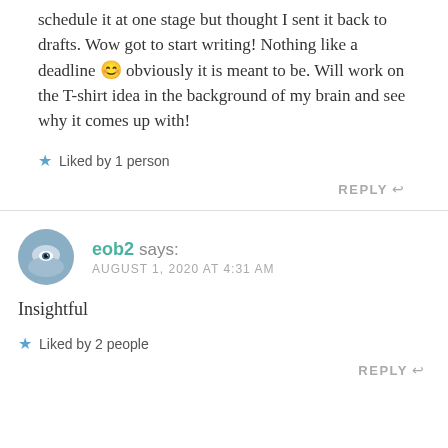schedule it at one stage but thought I sent it back to drafts. Wow got to start writing! Nothing like a deadline 😊 obviously it is meant to be. Will work on the T-shirt idea in the background of my brain and see why it comes up with!
Liked by 1 person
REPLY
eob2 says: AUGUST 1, 2020 AT 4:31 AM
Insightful
Liked by 2 people
REPLY